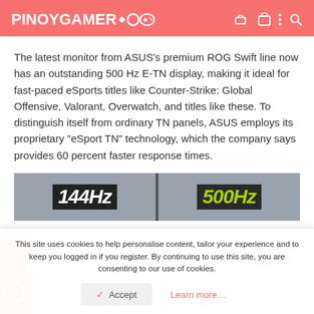PINOYGAMER
The latest monitor from ASUS's premium ROG Swift line now has an outstanding 500 Hz E-TN display, making it ideal for fast-paced eSports titles like Counter-Strike: Global Offensive, Valorant, Overwatch, and titles like these. To distinguish itself from ordinary TN panels, ASUS employs its proprietary "eSport TN" technology, which the company says provides 60 percent faster response times.
[Figure (photo): Side-by-side comparison image showing two monitor refresh rate labels: '144Hz' on the left in white text on dark background, and '500Hz' on the right in green text on dark background.]
This site uses cookies to help personalise content, tailor your experience and to keep you logged in if you register. By continuing to use this site, you are consenting to our use of cookies.